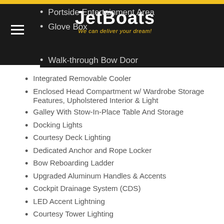[Figure (logo): JetBoats logo with tagline 'We can deliver your dream!' on dark background with gold stripe]
Portside Entertainment Area
Glove Box
Walk-through Bow Door
Integrated Removable Cooler
Enclosed Head Compartment w/ Wardrobe Storage Features, Upholstered Interior & Light
Galley With Stow-In-Place Table And Storage
Docking Lights
Courtesy Deck Lighting
Dedicated Anchor and Rope Locker
Bow Reboarding Ladder
Upgraded Aluminum Handles & Accents
Cockpit Drainage System (CDS)
LED Accent Lightning
Courtesy Tower Lighting
Integrated Swim Platform
Upholstered Cushioned Seats